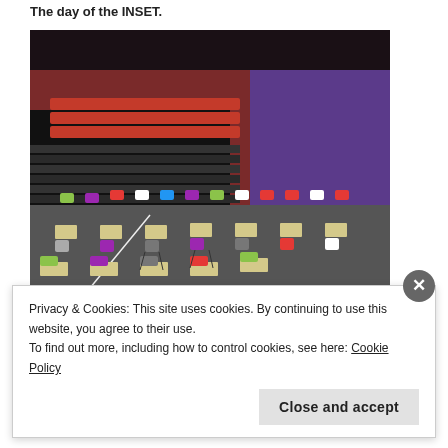The day of the INSET.
[Figure (photo): A theatre/hall set up with colourful individual chairs and small desk tables spread across a dark floor, with tiered seating and red/purple walls in the background. Photo taken at 8am before an INSET event.]
The theatre at 8am. One hour before launch.
The staff taking part in the INSET arrived at 9am and we checked the...
Privacy & Cookies: This site uses cookies. By continuing to use this website, you agree to their use.
To find out more, including how to control cookies, see here: Cookie Policy